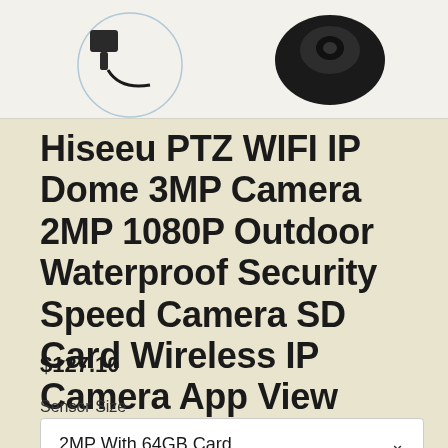[Figure (photo): Product image area showing a camera and accessories on a light background]
Hiseeu PTZ WIFI IP Dome 3MP Camera 2MP 1080P Outdoor Waterproof Security Speed Camera SD Card Wireless IP Camera App View
$127.10
Sensor Size
2MP With 64GB Card